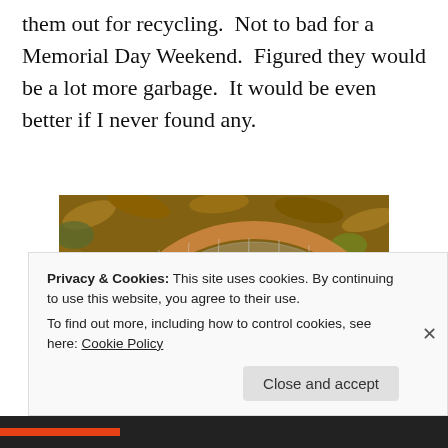them out for recycling.  Not to bad for a Memorial Day Weekend.  Figured they would be a lot more garbage.  It would be even better if I never found any.
[Figure (photo): A fishing net (wooden-framed landing net with mesh netting) lying on a bed of dead leaves, with two small plastic bottles/trash items collected inside the net.]
Privacy & Cookies: This site uses cookies. By continuing to use this website, you agree to their use.
To find out more, including how to control cookies, see here: Cookie Policy